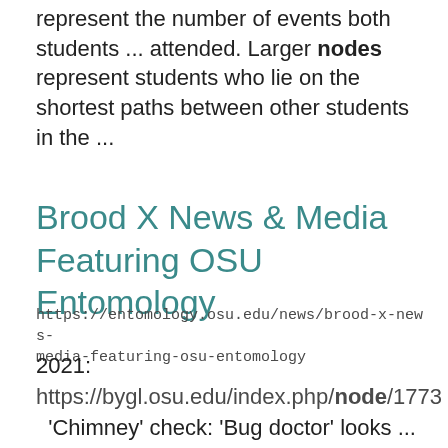represent the number of events both students ... attended. Larger nodes represent students who lie on the shortest paths between other students in the ...
Brood X News & Media Featuring OSU Entomology
https://entomology.osu.edu/news/brood-x-news-media-featuring-osu-entomology
2021:
https://bygl.osu.edu/index.php/node/1773
'Chimney' check: 'Bug doctor' looks ...
Key Mastitis Control Points for Best Milk Quality ...